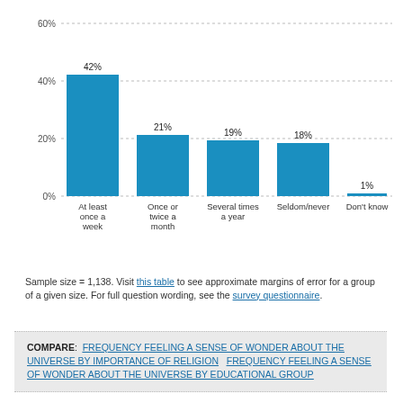[Figure (bar-chart): ]
Sample size = 1,138. Visit this table to see approximate margins of error for a group of a given size. For full question wording, see the survey questionnaire.
COMPARE: FREQUENCY FEELING A SENSE OF WONDER ABOUT THE UNIVERSE BY IMPORTANCE OF RELIGION   FREQUENCY FEELING A SENSE OF WONDER ABOUT THE UNIVERSE BY EDUCATIONAL GROUP